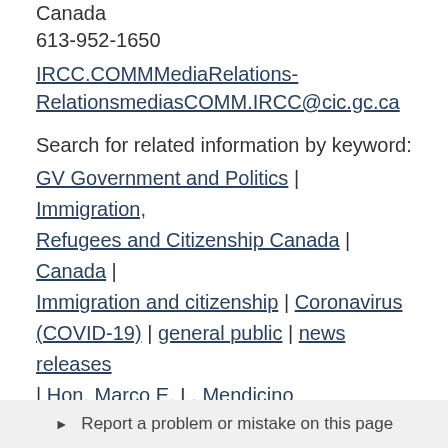Immigration, Refugees and Citizenship Canada
613-952-1650
IRCC.COMMMediaRelations-RelationsmediasCOMM.IRCC@cic.gc.ca
Search for related information by keyword:
GV Government and Politics | Immigration, Refugees and Citizenship Canada | Canada | Immigration and citizenship | Coronavirus (COVID-19) | general public | news releases | Hon. Marco E. L. Mendicino
Report a problem or mistake on this page